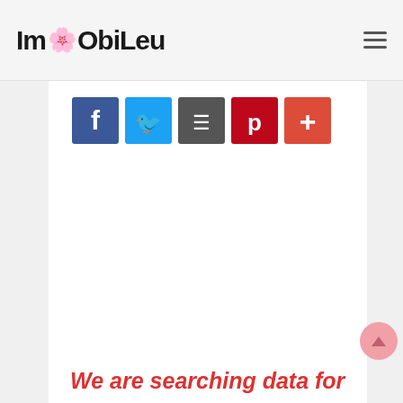ImObiLeu
[Figure (other): Social sharing buttons: Facebook (blue), Twitter (blue), Google+ (dark gray), Pinterest (red), Add/Plus (orange-red)]
We are searching data for